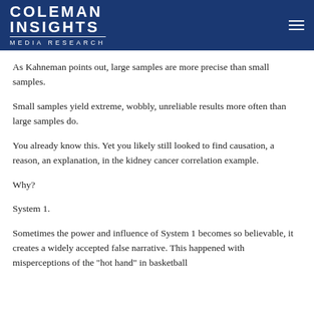COLEMAN INSIGHTS Media Research
As Kahneman points out, large samples are more precise than small samples.
Small samples yield extreme, wobbly, unreliable results more often than large samples do.
You already know this. Yet you likely still looked to find causation, a reason, an explanation, in the kidney cancer correlation example.
Why?
System 1.
Sometimes the power and influence of System 1 becomes so believable, it creates a widely accepted false narrative. This happened with misperceptions of the "hot hand" in basketball